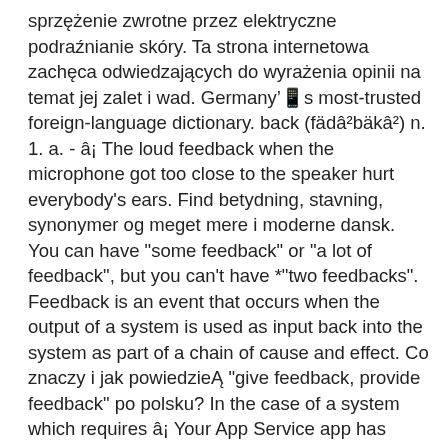sprzężenie zwrotne przez elektryczne podraźnianie skóry. Ta strona internetowa zachęca odwiedzających do wyrażenia opinii na temat jej zalet i wad. Germany's most-trusted foreign-language dictionary. back (fädâ²bäkâ²) n. 1. a. - â¦ The loud feedback when the microphone got too close to the speaker hurt everybody's ears. Find betydning, stavning, synonymer og meget mere i moderne dansk. You can have "some feedback" or "a lot of feedback", but you can't have *"two feedbacks". Feedback is an event that occurs when the output of a system is used as input back into the system as part of a chain of cause and effect. Co znaczy i jak powiedzieć "give feedback, provide feedback" po polsku? In the case of a system which requires â¦ Your App Service app has been created. Sign up or log in to save this to your schedule, view media, leave feedback and see who's attending! Another word for feedback. They gave her some positive feedback on her article but didn't publish it. â€‌customer feedback suggested that the design flaws were severeâ€ â€œWe improve our products, based on feedback, until they're the best.â€ â€œIt has many ideas for better consultation, more information